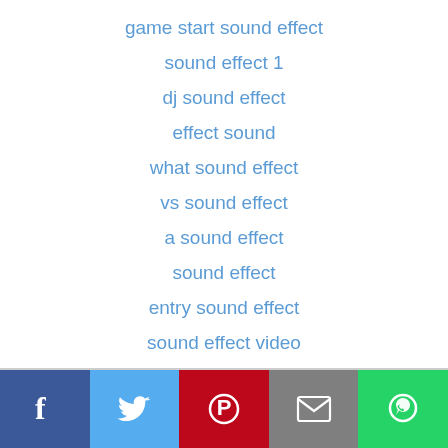game start sound effect
sound effect 1
dj sound effect
effect sound
what sound effect
vs sound effect
a sound effect
sound effect
entry sound effect
sound effect video
[Figure (infographic): Social sharing bar with Facebook, Twitter, Pinterest, Email, and WhatsApp buttons]